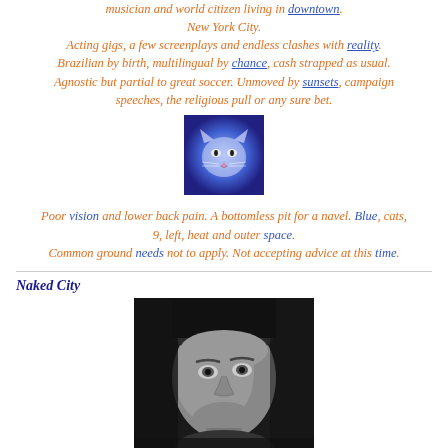musician and world citizen living in downtown New York City. Acting gigs, a few screenplays and endless clashes with reality. Brazilian by birth, multilingual by chance, cash strapped as usual. Agnostic but partial to great soccer. Unmoved by sunsets, campaign speeches, the religious pull or any sure bet.
[Figure (photo): Small square image of a cat with blue/purple hues and glowing effect]
Poor vision and lower back pain. A bottomless pit for a navel. Blue, cats, 9, left, heat and outer space. Common ground needs not to apply. Not accepting advice at this time.
Naked City
[Figure (photo): Black and white portrait photograph of a man looking slightly upward]